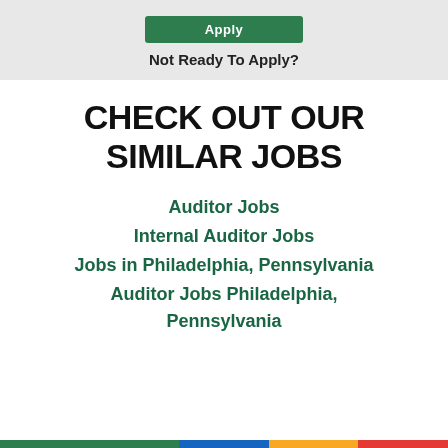[Figure (screenshot): Green Apply button at top of gray bar]
Not Ready To Apply?
CHECK OUT OUR SIMILAR JOBS
Auditor Jobs
Internal Auditor Jobs
Jobs in Philadelphia, Pennsylvania
Auditor Jobs Philadelphia, Pennsylvania